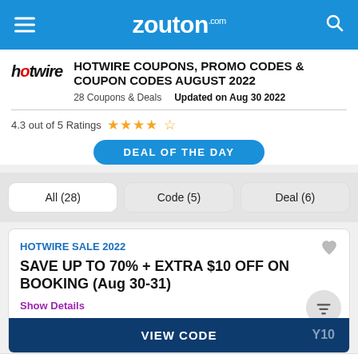zouton.com
[Figure (logo): Hotwire brand logo in italic style]
HOTWIRE COUPONS, PROMO CODES & COUPON CODES AUGUST 2022
28 Coupons & Deals    Updated on Aug 30 2022
4.3 out of 5 Ratings ★★★★☆
DEAL OF THE DAY
All (28)
Code (5)
Deal (6)
HOTWIRE SALE 2022
SAVE UP TO 70% + EXTRA $10 OFF ON BOOKING (Aug 30-31)
Show Details
VIEW CODE
Zouton App
4.2 Rating
100% Exclusive Offers & Coupons
Shop & Save on 500+ Online Brands
DOWNLOAD NOW